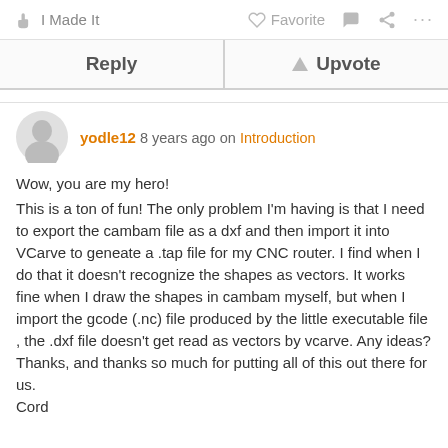✋ I Made It    ♡ Favorite    💬    ⋮⋮⋮
Reply    ▲ Upvote
yodle12 8 years ago on Introduction

Wow, you are my hero!
This is a ton of fun! The only problem I'm having is that I need to export the cambam file as a dxf and then import it into VCarve to geneate a .tap file for my CNC router. I find when I do that it doesn't recognize the shapes as vectors. It works fine when I draw the shapes in cambam myself, but when I import the gcode (.nc) file produced by the little executable file , the .dxf file doesn't get read as vectors by vcarve. Any ideas? Thanks, and thanks so much for putting all of this out there for us.
Cord